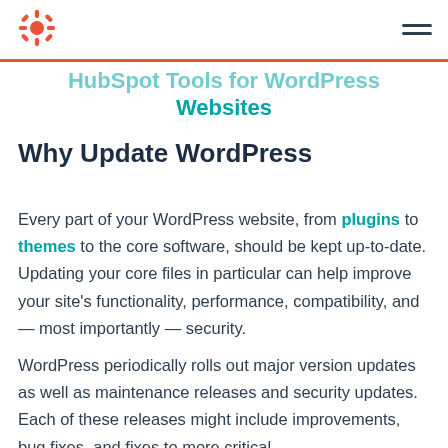HubSpot Tools for WordPress Websites
HubSpot Tools for WordPress Websites
Why Update WordPress
Every part of your WordPress website, from plugins to themes to the core software, should be kept up-to-date. Updating your core files in particular can help improve your site’s functionality, performance, compatibility, and — most importantly — security.
WordPress periodically rolls out major version updates as well as maintenance releases and security updates. Each of these releases might include improvements, bug fixes, and fixes to more critical